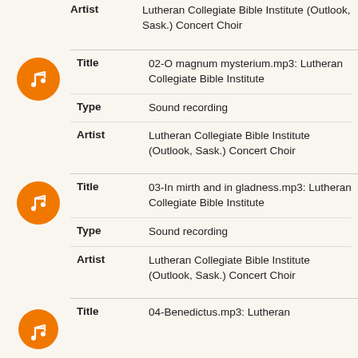Artist: Lutheran Collegiate Bible Institute (Outlook, Sask.) Concert Choir
[Figure (illustration): Orange circle music note icon for track 02]
Title: 02-O magnum mysterium.mp3: Lutheran Collegiate Bible Institute
Type: Sound recording
Artist: Lutheran Collegiate Bible Institute (Outlook, Sask.) Concert Choir
[Figure (illustration): Orange circle music note icon for track 03]
Title: 03-In mirth and in gladness.mp3: Lutheran Collegiate Bible Institute
Type: Sound recording
Artist: Lutheran Collegiate Bible Institute (Outlook, Sask.) Concert Choir
[Figure (illustration): Orange circle music note icon for track 04]
Title: 04-Benedictus.mp3: Lutheran